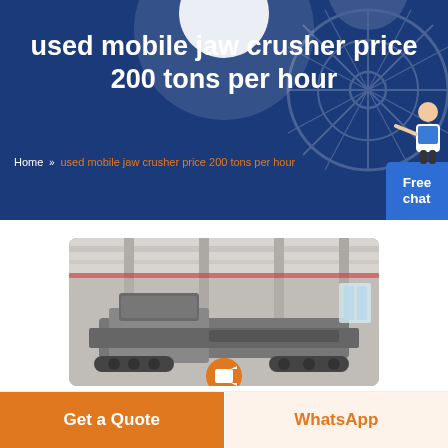used mobile jaw crusher price 200 tons per hour
Home » used mobile jaw crusher price 200 tons per hour
[Figure (photo): Industrial mobile jaw crusher machine photographed inside a large factory/warehouse building with high ceilings and overhead cranes. The crusher is a large metallic heavy equipment machine on tracks.]
Get a Quote
WhatsApp